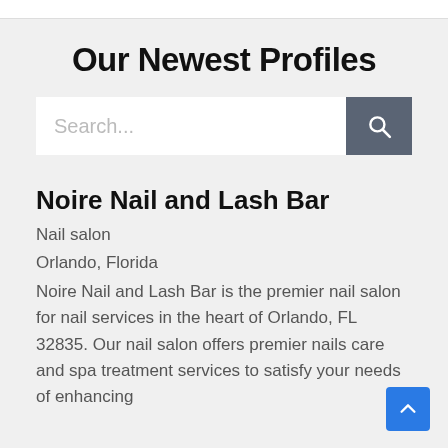Our Newest Profiles
[Figure (screenshot): Search input bar with a dark gray search button containing a magnifying glass icon]
Noire Nail and Lash Bar
Nail salon
Orlando, Florida
Noire Nail and Lash Bar is the premier nail salon for nail services in the heart of Orlando, FL 32835. Our nail salon offers premier nails care and spa treatment services to satisfy your needs of enhancing